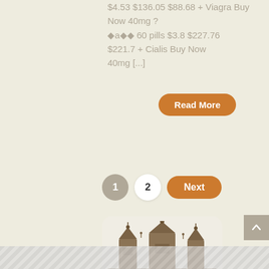$4.53 $136.05 $88.68 + Viagra Buy Now 40mg ? ◆a◆◆ 60 pills $3.8 $227.76 $221.7 + Cialis Buy Now 40mg [...]
[Figure (screenshot): Orange rounded 'Read More' button]
[Figure (screenshot): Pagination controls: page 1 (tan circle), page 2 (white circle), Next button (orange rounded)]
[Figure (photo): Temple/religious building illustration at bottom]
[Figure (screenshot): Scroll-to-top button (grey square, arrow up) at bottom right]